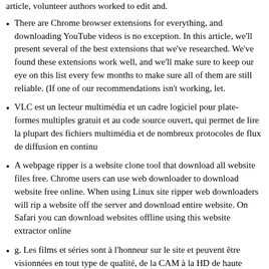article, volunteer authors worked to edit and.
There are Chrome browser extensions for everything, and downloading YouTube videos is no exception. In this article, we'll present several of the best extensions that we've researched. We've found these extensions work well, and we'll make sure to keep our eye on this list every few months to make sure all of them are still reliable. (If one of our recommendations isn't working, let.
VLC est un lecteur multimédia et un cadre logiciel pour plate-formes multiples gratuit et au code source ouvert, qui permet de lire la plupart des fichiers multimédia et de nombreux protocoles de flux de diffusion en continu
A webpage ripper is a website clone tool that download all website files free. Chrome users can use web downloader to download website free online. When using Linux site ripper web downloaders will rip a website off the server and download entire website. On Safari you can download websites offline using this website extractor online
g. Les films et séries sont à l'honneur sur le site et peuvent être visionnées en tout type de qualité, de la CAM à la HD de haute qualité
g sur mystrea
Survive and shoot at others while trying to keep your own tank alive